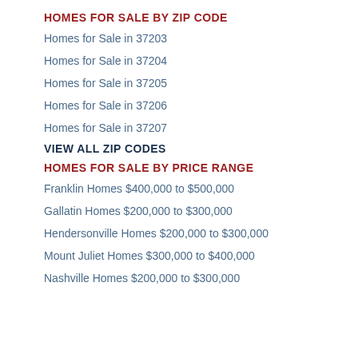HOMES FOR SALE BY ZIP CODE
Homes for Sale in 37203
Homes for Sale in 37204
Homes for Sale in 37205
Homes for Sale in 37206
Homes for Sale in 37207
VIEW ALL ZIP CODES
HOMES FOR SALE BY PRICE RANGE
Franklin Homes $400,000 to $500,000
Gallatin Homes $200,000 to $300,000
Hendersonville Homes $200,000 to $300,000
Mount Juliet Homes $300,000 to $400,000
Nashville Homes $200,000 to $300,000